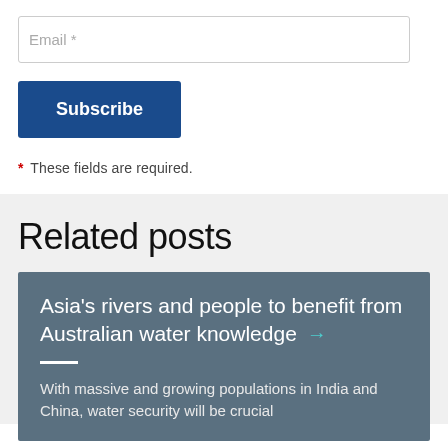Email *
Subscribe
* These fields are required.
Related posts
Asia's rivers and people to benefit from Australian water knowledge →
With massive and growing populations in India and China, water security will be crucial